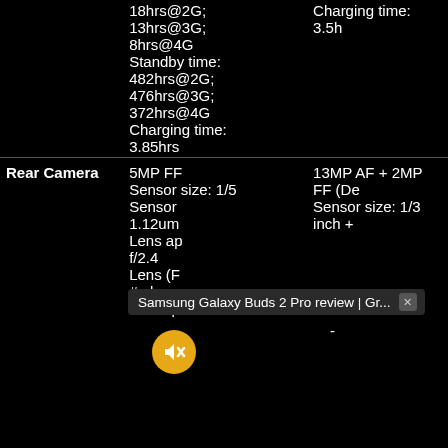| Feature | Device 1 | Device 2 |
| --- | --- | --- |
|  | 18hrs@2G;
13hrs@3G;
8hrs@4G
Standby time:
482hrs@2G;
476hrs@3G;
372hrs@4G
Charging time:
3.85hrs | Charging time: 3.5h |
| Rear Camera | 5MP FF
Sensor size: 1/5
Sensor
1.12um
Lens ap
f/2.4
Lens (F
# eleme
Video p | 13MP AF + 2MP FF (De
Sensor size: 1/3 inch + |
[Figure (screenshot): Browser tooltip overlay showing 'Samsung Galaxy Buds 2 Pro review | Gr...' with an X close button, and a muted/no-sound icon circle in orange/yellow]